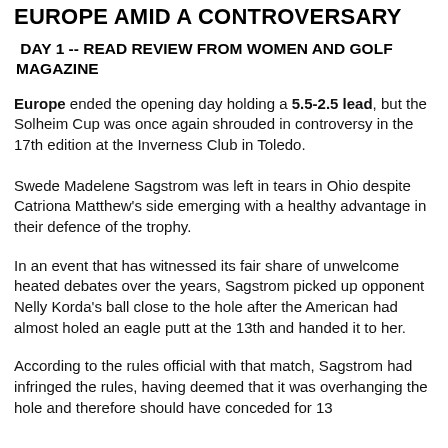EUROPE AMID A CONTROVERSARY
DAY 1 -- READ REVIEW FROM WOMEN AND GOLF MAGAZINE
Europe ended the opening day holding a 5.5-2.5 lead, but the Solheim Cup was once again shrouded in controversy in the 17th edition at the Inverness Club in Toledo.
Swede Madelene Sagstrom was left in tears in Ohio despite Catriona Matthew's side emerging with a healthy advantage in their defence of the trophy.
In an event that has witnessed its fair share of unwelcome heated debates over the years, Sagstrom picked up opponent Nelly Korda's ball close to the hole after the American had almost holed an eagle putt at the 13th and handed it to her.
According to the rules official with that match, Sagstrom had infringed the rules, having deemed that it was overhanging the hole and therefore should have conceded for 13...